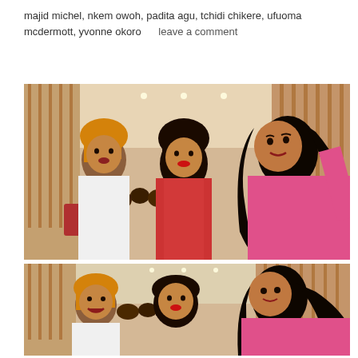majid michel, nkem owoh, padita agu, tchidi chikere, ufuoma mcdermott, yvonne okoro        leave a comment
[Figure (photo): Three women posing together for a selfie inside a large hall. Left woman in white outfit with orange/blonde hair, center woman in red lace dress, right woman in pink outfit with long dark hair taking the selfie. Brick/wood paneled walls and red chairs visible in background.]
[Figure (photo): Same three women in a second photo from a slightly different angle. Same hall setting with wood paneled walls and audience visible in background.]